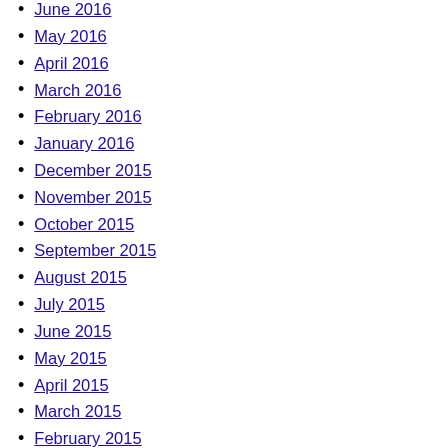June 2016
May 2016
April 2016
March 2016
February 2016
January 2016
December 2015
November 2015
October 2015
September 2015
August 2015
July 2015
June 2015
May 2015
April 2015
March 2015
February 2015
January 2015
December 2014
November 2014
October 2014
September 2014
August 2014
July 2014
June 2014